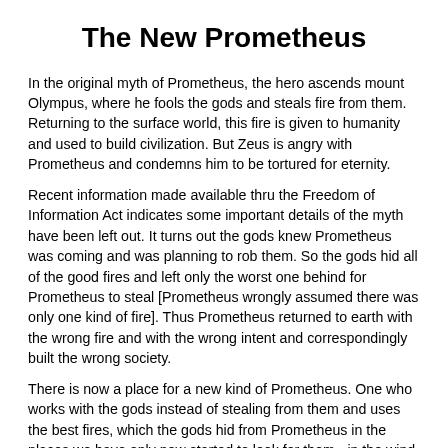The New Prometheus
In the original myth of Prometheus, the hero ascends mount Olympus, where he fools the gods and steals fire from them. Returning to the surface world, this fire is given to humanity and used to build civilization. But Zeus is angry with Prometheus and condemns him to be tortured for eternity.
Recent information made available thru the Freedom of Information Act indicates some important details of the myth have been left out. It turns out the gods knew Prometheus was coming and was planning to rob them. So the gods hid all of the good fires and left only the worst one behind for Prometheus to steal [Prometheus wrongly assumed there was only one kind of fire]. Thus Prometheus returned to earth with the wrong fire and with the wrong intent and correspondingly built the wrong society.
There is now a place for a new kind of Prometheus. One who works with the gods instead of stealing from them and uses the best fires, which the gods hid from Prometheus in the places we have only now started to look for them - in the wind, in the sea and in the sun.
It is time we started working with nature - instead of stealing from it, harnessing the power of renewable resources in wind, solar and sea-based technology. And with these we can build a new civilization.